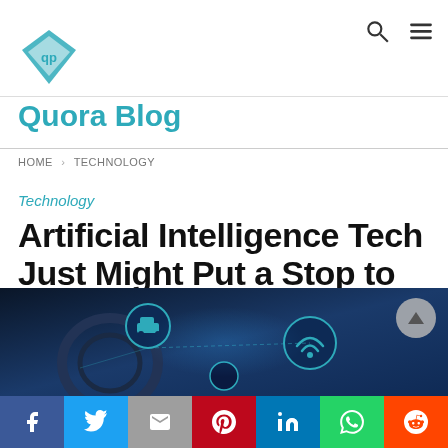Quora Blog
HOME > TECHNOLOGY
Technology
Artificial Intelligence Tech Just Might Put a Stop to Car Crashes
[Figure (photo): Car dashboard with glowing AI/autonomous driving interface icons including wifi symbol and car symbol on dark blue background]
Social share buttons: Facebook, Twitter, Gmail, Pinterest, LinkedIn, WhatsApp, Reddit